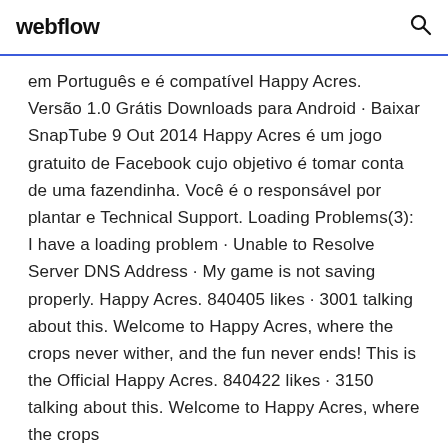webflow
em Português e é compatível Happy Acres. Versão 1.0 Grátis Downloads para Android · Baixar SnapTube 9 Out 2014 Happy Acres é um jogo gratuito de Facebook cujo objetivo é tomar conta de uma fazendinha. Você é o responsável por plantar e Technical Support. Loading Problems(3): I have a loading problem · Unable to Resolve Server DNS Address · My game is not saving properly. Happy Acres. 840405 likes · 3001 talking about this. Welcome to Happy Acres, where the crops never wither, and the fun never ends! This is the Official Happy Acres. 840422 likes · 3150 talking about this. Welcome to Happy Acres, where the crops never wither, and the fun never ends! This is the